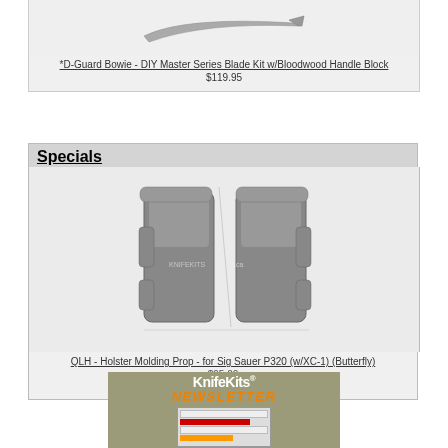[Figure (photo): Knife blade product image on gray background]
*D-Guard Bowie - DIY Master Series Blade Kit w/Bloodwood Handle Block
$119.95
Specials
[Figure (photo): QLH Holster Molding Prop for Sig Sauer P320 (w/XC-1) Butterfly - front and back view on gray background]
QLH - Holster Molding Prop - for Sig Sauer P320 (w/XC-1) (Butterfly)
$95.00
$47.50
[Figure (screenshot): KnifeKits Newsletter banner advertisement with logo and newsletter preview screenshot]